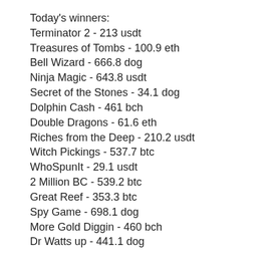Today's winners:
Terminator 2 - 213 usdt
Treasures of Tombs - 100.9 eth
Bell Wizard - 666.8 dog
Ninja Magic - 643.8 usdt
Secret of the Stones - 34.1 dog
Dolphin Cash - 461 bch
Double Dragons - 61.6 eth
Riches from the Deep - 210.2 usdt
Witch Pickings - 537.7 btc
WhoSpunIt - 29.1 usdt
2 Million BC - 539.2 btc
Great Reef - 353.3 btc
Spy Game - 698.1 dog
More Gold Diggin - 460 bch
Dr Watts up - 441.1 dog
Best Slots Games:
OneHash Benchwarmer Football Girls
CryptoWild Casino Neon Life